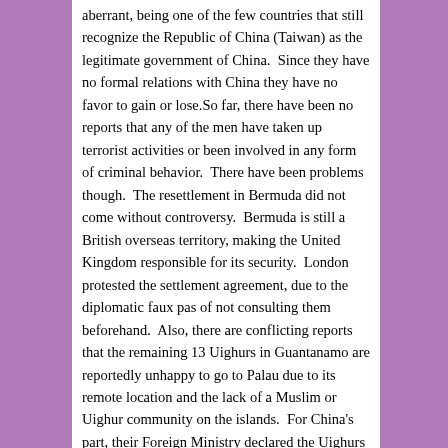aberrant, being one of the few countries that still recognize the Republic of China (Taiwan) as the legitimate government of China.  Since they have no formal relations with China they have no favor to gain or lose.So far, there have been no reports that any of the men have taken up terrorist activities or been involved in any form of criminal behavior.  There have been problems though.  The resettlement in Bermuda did not come without controversy.  Bermuda is still a British overseas territory, making the United Kingdom responsible for its security.  London protested the settlement agreement, due to the diplomatic faux pas of not consulting them beforehand.  Also, there are conflicting reports that the remaining 13 Uighurs in Guantanamo are reportedly unhappy to go to Palau due to its remote location and the lack of a Muslim or Uighur community on the islands.  For China's part, their Foreign Ministry declared the Uighurs terror suspects and demanded they be returned to China immediately, then accused the U.S. of being hypocritical for allowing such men to go free.So why is China so concerned about a handful of Turkic Muslims that it would be willing to use